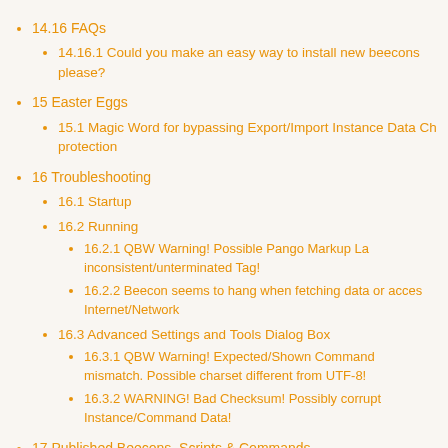14.16 FAQs
14.16.1 Could you make an easy way to install new beecons please?
15 Easter Eggs
15.1 Magic Word for bypassing Export/Import Instance Data Ch protection
16 Troubleshooting
16.1 Startup
16.2 Running
16.2.1 QBW Warning! Possible Pango Markup La inconsistent/unterminated Tag!
16.2.2 Beecon seems to hang when fetching data or acces Internet/Network
16.3 Advanced Settings and Tools Dialog Box
16.3.1 QBW Warning! Expected/Shown Command mismatch. Possible charset different from UTF-8!
16.3.2 WARNING! Bad Checksum! Possibly corrupt Instance/Command Data!
17 Published Beecons, Scripts & Commands